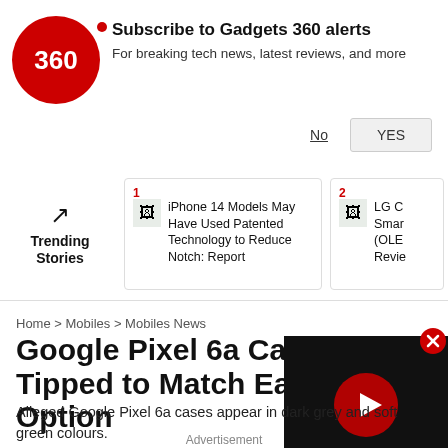[Figure (screenshot): Gadgets 360 logo - red circle with '360' text in white]
Subscribe to Gadgets 360 alerts
For breaking tech news, latest reviews, and more
No  YES
Trending Stories
1 iPhone 14 Models May Have Used Patented Technology to Reduce Notch: Report
2 LG C Smar (OLE Revie
Home > Mobiles > Mobiles News
Google Pixel 6a Cases Tipped to Match Each Option
Alleged Google Pixel 6a cases appear in dark grey and soft green colours.
[Figure (screenshot): Video player with play button on dark background]
Advertisement